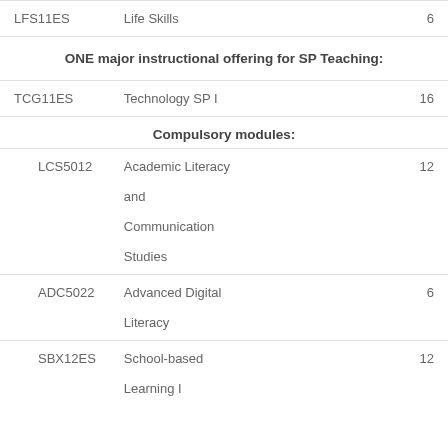| Code | Name | Credits |
| --- | --- | --- |
| LFS11ES | Life Skills | 6 |
| ONE major instructional offering for SP Teaching: |  |  |
| TCG11ES | Technology SP I | 16 |
| Compulsory modules: |  |  |
| LCS5012 | Academic Literacy and Communication Studies | 12 |
| ADC5022 | Advanced Digital Literacy | 6 |
| SBX12ES | School-based Learning I | 12 |